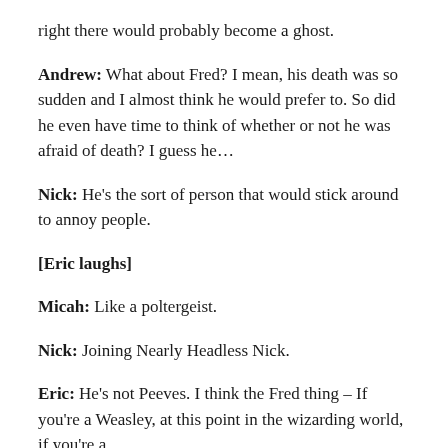right there would probably become a ghost.
Andrew: What about Fred? I mean, his death was so sudden and I almost think he would prefer to. So did he even have time to think of whether or not he was afraid of death? I guess he…
Nick: He's the sort of person that would stick around to annoy people.
[Eric laughs]
Micah: Like a poltergeist.
Nick: Joining Nearly Headless Nick.
Eric: He's not Peeves. I think the Fred thing – If you're a Weasley, at this point in the wizarding world, if you're a